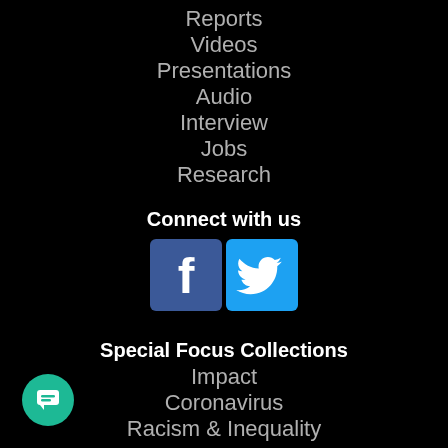Reports
Videos
Presentations
Audio
Interview
Jobs
Research
Connect with us
[Figure (logo): Facebook and Twitter social media icons]
Special Focus Collections
Impact
Coronavirus
Racism & Inequality